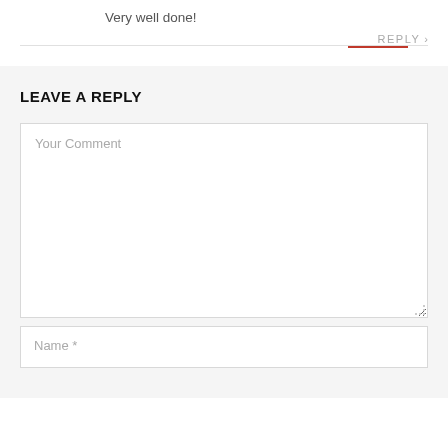Very well done!
REPLY >
LEAVE A REPLY
Your Comment
Name *